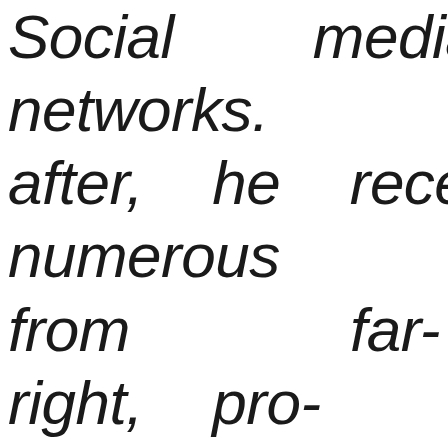Social media networks. Soon after, he received numerous threats from far-right, pro-Maidan nationalists. He also lives in